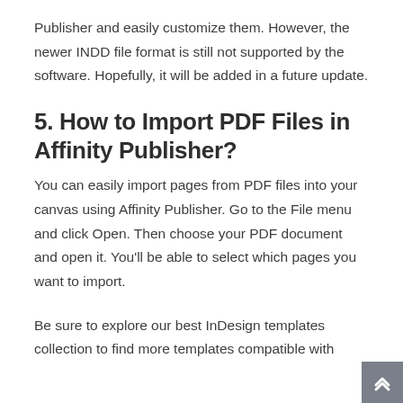Publisher and easily customize them. However, the newer INDD file format is still not supported by the software. Hopefully, it will be added in a future update.
5. How to Import PDF Files in Affinity Publisher?
You can easily import pages from PDF files into your canvas using Affinity Publisher. Go to the File menu and click Open. Then choose your PDF document and open it. You'll be able to select which pages you want to import.
Be sure to explore our best InDesign templates collection to find more templates compatible with